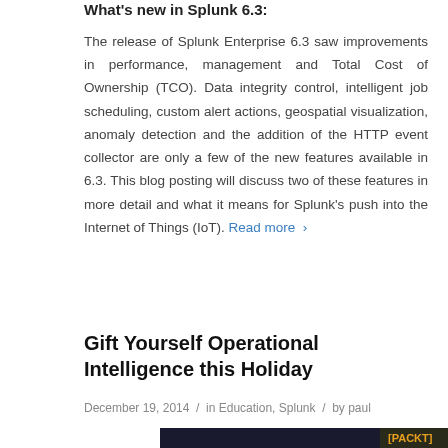What's new in Splunk 6.3:
The release of Splunk Enterprise 6.3 saw improvements in performance, management and Total Cost of Ownership (TCO). Data integrity control, intelligent job scheduling, custom alert actions, geospatial visualization, anomaly detection and the addition of the HTTP event collector are only a few of the new features available in 6.3. This blog posting will discuss two of these features in more detail and what it means for Splunk's push into the Internet of Things (IoT). Read more ›
Gift Yourself Operational Intelligence this Holiday
December 19, 2014  /  in Education, Splunk  /  by paul
[Figure (photo): Partial view of a book cover with dark background and orange PACKT logo text visible at bottom right]